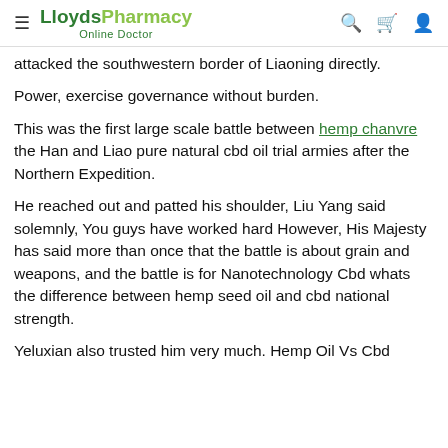LloydsPharmacy Online Doctor
attacked the southwestern border of Liaoning directly.
Power, exercise governance without burden.
This was the first large scale battle between hemp chanvre the Han and Liao pure natural cbd oil trial armies after the Northern Expedition.
He reached out and patted his shoulder, Liu Yang said solemnly, You guys have worked hard However, His Majesty has said more than once that the battle is about grain and weapons, and the battle is for Nanotechnology Cbd whats the difference between hemp seed oil and cbd national strength.
Yeluxian also trusted him very much. Hemp Oil Vs Cbd